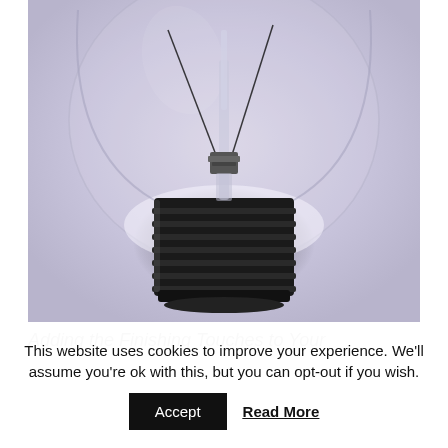[Figure (photo): Close-up photograph of an incandescent light bulb viewed from below, showing the glass globe (with a lavender-purple tinted background), the filament support structure, and the dark threaded metal base (Edison screw). The bulb is oriented upside-down or viewed from below.]
Adding the Finishing Touches to Your
This website uses cookies to improve your experience. We'll assume you're ok with this, but you can opt-out if you wish.
Accept  Read More